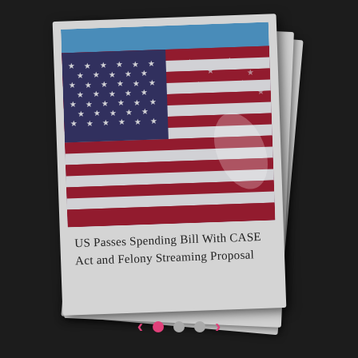[Figure (photo): A polaroid-style photo card (with stacked layers behind it) showing an American flag waving against a blue sky. The flag shows red and white stripes on the left and a blue field with white stars on the right. Below the photo is handwritten-style text reading: 'US Passes Spending Bill With CASE Act and Felony Streaming Proposal']
US Passes Spending Bill With CASE Act and Felony Streaming Proposal